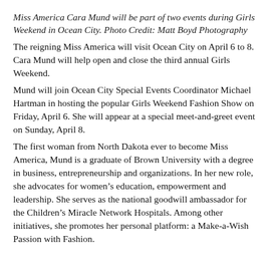Miss America Cara Mund will be part of two events during Girls Weekend in Ocean City. Photo Credit: Matt Boyd Photography
The reigning Miss America will visit Ocean City on April 6 to 8. Cara Mund will help open and close the third annual Girls Weekend.
Mund will join Ocean City Special Events Coordinator Michael Hartman in hosting the popular Girls Weekend Fashion Show on Friday, April 6. She will appear at a special meet-and-greet event on Sunday, April 8.
The first woman from North Dakota ever to become Miss America, Mund is a graduate of Brown University with a degree in business, entrepreneurship and organizations. In her new role, she advocates for women's education, empowerment and leadership. She serves as the national goodwill ambassador for the Children's Miracle Network Hospitals. Among other initiatives, she promotes her personal platform: a Make-a-Wish Passion with Fashion.